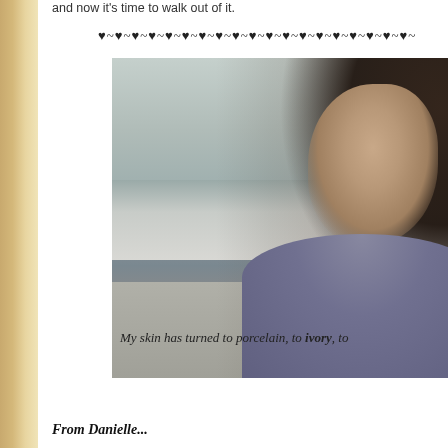and now it's time to walk out of it.
♥~♥~♥~♥~♥~♥~♥~♥~♥~♥~♥~♥~♥~♥~♥~♥~♥~♥~♥~
[Figure (photo): A woman with dark hair in a braid, wearing glasses and a grey sleeveless top with a decorative headband, standing at the beach looking sideways. Overcast sky and ocean waves in background. Text overlay reads: My skin has turned to porcelain, to ivory, to]
From Danielle...